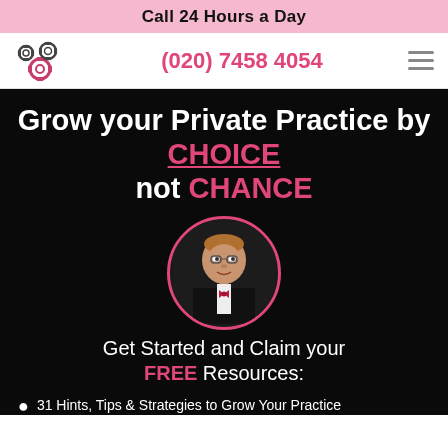Call 24 Hours a Day
(020) 7458 4054
Grow your Private Practice by CHOICE not CHANCE
[Figure (photo): Circular portrait photo of a man in a tuxedo with a red bow tie, framed by a pink circle border]
Get Started and Claim your FREE Resources:
31 Hints, Tips & Strategies to Grow Your Practice